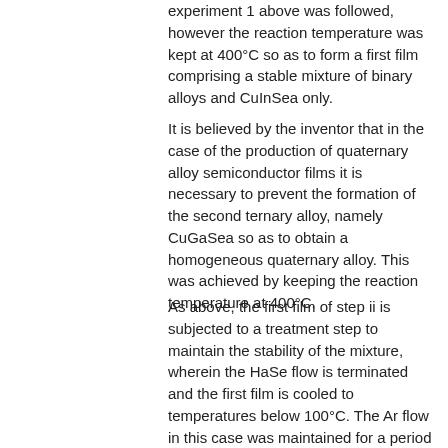experiment 1 above was followed, however the reaction temperature was kept at 400°C so as to form a first film comprising a stable mixture of binary alloys and CuInSea only.
It is believed by the inventor that in the case of the production of quaternary alloy semiconductor films it is necessary to prevent the formation of the second ternary alloy, namely CuGaSea so as to obtain a homogeneous quaternary alloy. This was achieved by keeping the reaction temperature at 400°C.
As above, the first film of step ii is subjected to a treatment step to maintain the stability of the mixture, wherein the HaSe flow is terminated and the first film is cooled to temperatures below 100°C. The Ar flow in this case was maintained for a period of at least 15 minutes, once again to ensure the complete removal of the HaSe species.
Step (Hi)
In the case of the production of a quaternary alloy semiconductor film, this step is not carried out.
Step(iv)
The first film is subjected to the following consecutive